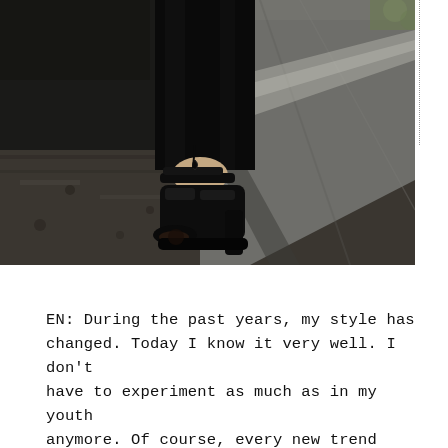[Figure (photo): Close-up photo of a woman's lower leg and foot wearing a black strappy high-heel sandal with cut-out details, standing on a rough stone ground beside a concrete wall. She is wearing wide-leg black trousers.]
EN: During the past years, my style has changed. Today I know it very well. I don't have to experiment as much as in my youth anymore. Of course, every new trend brings